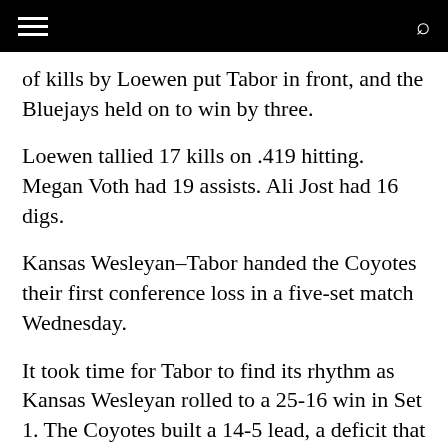of kills by Loewen put Tabor in front, and the Bluejays held on to win by three.
Loewen tallied 17 kills on .419 hitting. Megan Voth had 19 assists. Ali Jost had 16 digs.
Kansas Wesleyan–Tabor handed the Coyotes their first conference loss in a five-set match Wednesday.
It took time for Tabor to find its rhythm as Kansas Wesleyan rolled to a 25-16 win in Set 1. The Coyotes built a 14-5 lead, a deficit that proved too large to overcome, and scored the set's final four points to claim the win. Kansas Wesleyan hit .343 in that set with 15 kills. Tabor, meanwhile, recorded 10 kills but